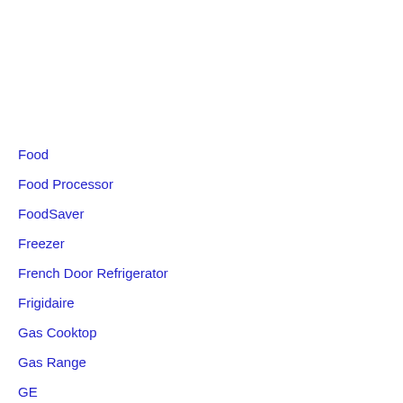Food
Food Processor
FoodSaver
Freezer
French Door Refrigerator
Frigidaire
Gas Cooktop
Gas Range
GE
Guid…